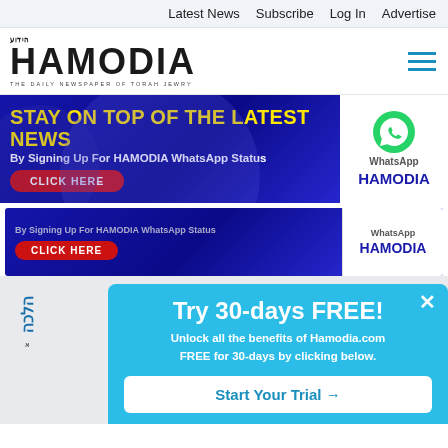Latest News  Subscribe  Log In  Advertise
[Figure (logo): Hamodia newspaper logo with Hebrew text and tagline 'The Daily Newspaper of Torah Jewry']
[Figure (infographic): Banner advertisement: STAY ON TOP OF THE LATEST NEWS By Signing Up For HAMODIA WhatsApp Status CLICK HERE, with WhatsApp logo and HAMODIA branding]
[Figure (infographic): Smaller duplicate banner: By Signing Up For HAMODIA WhatsApp Status CLICK HERE, with WhatsApp label and HAMODIA text]
[Figure (infographic): Trial popup overlay: Try 30-days FREE! Unlock all the benefits of Hamodia.com FREE for 30-days by clicking below. Start Your Trial button]
הלכה